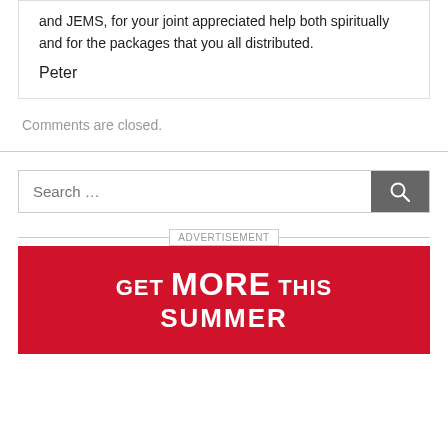and JEMS, for your joint appreciated help both spiritually and for the packages that you all distributed.
Peter
Comments are closed.
[Figure (screenshot): Search bar with placeholder text 'Search ...' and a grey search button with magnifying glass icon]
[Figure (infographic): Red advertisement banner with white bold text reading 'GET MORE THIS SUMMER']